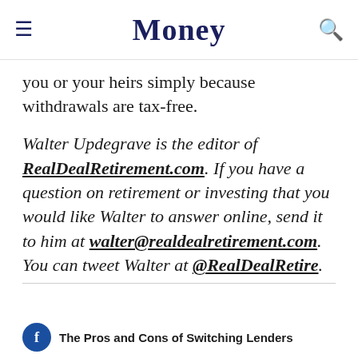Money
you or your heirs simply because withdrawals are tax-free.
Walter Updegrave is the editor of RealDealRetirement.com. If you have a question on retirement or investing that you would like Walter to answer online, send it to him at walter@realdealretirement.com. You can tweet Walter at @RealDealRetire.
The Pros and Cons of Switching Lenders